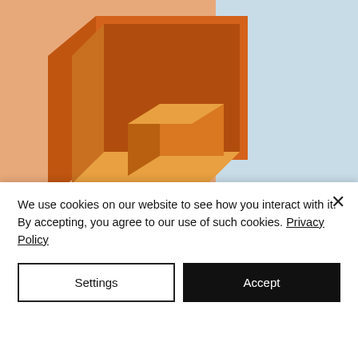[Figure (illustration): Abstract 3D geometric illustration with an orange cube/box shape on a peach/salmon background on the left, and light blue background on the right]
Our Anniversary Present to YOU!
Purchase a Package & get
We use cookies on our website to see how you interact with it. By accepting, you agree to our use of such cookies. Privacy Policy
Settings
Accept